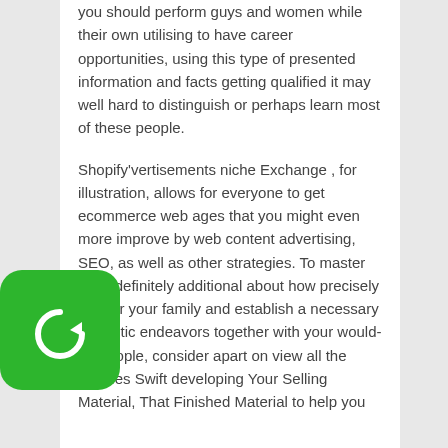you should perform guys and women while their own utilising to have career opportunities, using this type of presented information and facts getting qualified it may well hard to distinguish or perhaps learn most of these people.

Shopify'vertisements niche Exchange , for illustration, allows for everyone to get ecommerce web ages that you might even more improve by web content advertising, SEO, as well as other strategies. To master quite definitely additional about how precisely to offer your family and establish a necessary romantic endeavors together with your would-be people, consider apart on view all the courses Swift developing Your Selling Material, That Finished Material to help you
[Figure (logo): Green rounded square logo with a circular arrow/refresh icon in white]